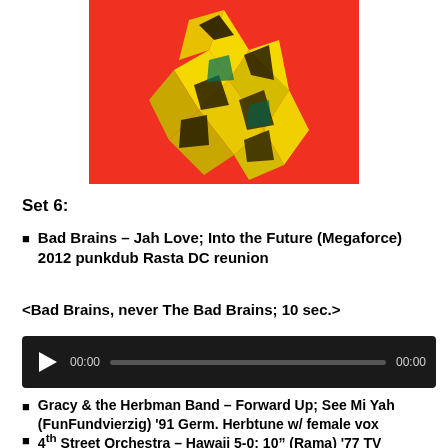[Figure (illustration): Abstract colorful album art with red background and fragmented yellow and black geometric shapes resembling a figure]
Set 6:
Bad Brains – Jah Love; Into the Future (Megaforce) 2012 punkdub Rasta DC reunion
<Bad Brains, never The Bad Brains; 10 sec.>
[Figure (screenshot): Audio player widget with play button, timestamp 00:00, progress bar, and end time 00:00]
Gracy & the Herbman Band – Forward Up; See Mi Yah (FunFundvierzig) '91 Germ. Herbtune w/ female vox
4th Street Orchestra – Hawaii 5-0; 10" (Rama) '77 TV